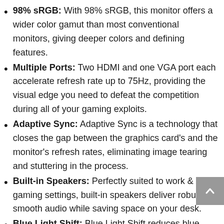98% sRGB: With 98% sRGB, this monitor offers a wider color gamut than most conventional monitors, giving deeper colors and defining features.
Multiple Ports: Two HDMI and one VGA port each accelerate refresh rate up to 75Hz, providing the visual edge you need to defeat the competition during all of your gaming exploits.
Adaptive Sync: Adaptive Sync is a technology that closes the gap between the graphics card's and the monitor's refresh rates, eliminating image tearing and stuttering in the process.
Built-in Speakers: Perfectly suited to work & gaming settings, built-in speakers deliver robust & smooth audio while saving space on your desk.
Blue Light Shift: Blue Light Shift reduces blue